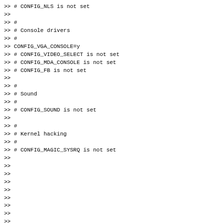>> # CONFIG_NLS is not set
>>
>> #
>> # Console drivers
>> #
>> CONFIG_VGA_CONSOLE=y
>> # CONFIG_VIDEO_SELECT is not set
>> # CONFIG_MDA_CONSOLE is not set
>> # CONFIG_FB is not set
>>
>> #
>> # Sound
>> #
>> # CONFIG_SOUND is not set
>>
>> #
>> # Kernel hacking
>> #
>> # CONFIG_MAGIC_SYSRQ is not set
>>
>>
>>
>>
>>
>>
>>
>>
>>
>>
>>
>